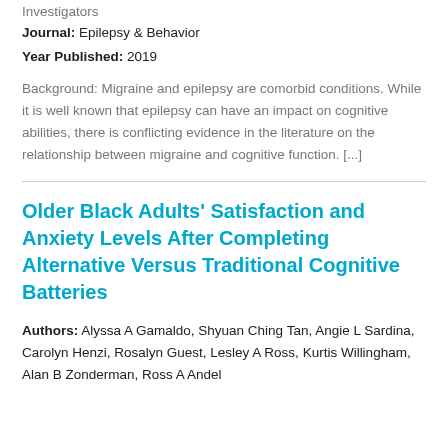Investigators
Journal: Epilepsy & Behavior
Year Published: 2019
Background: Migraine and epilepsy are comorbid conditions. While it is well known that epilepsy can have an impact on cognitive abilities, there is conflicting evidence in the literature on the relationship between migraine and cognitive function. [...]
Older Black Adults’ Satisfaction and Anxiety Levels After Completing Alternative Versus Traditional Cognitive Batteries
Authors: Alyssa A Gamaldo, Shyuan Ching Tan, Angie L Sardina, Carolyn Henzi, Rosalyn Guest, Lesley A Ross, Kurtis Willingham, Alan B Zonderman, Ross A Andel